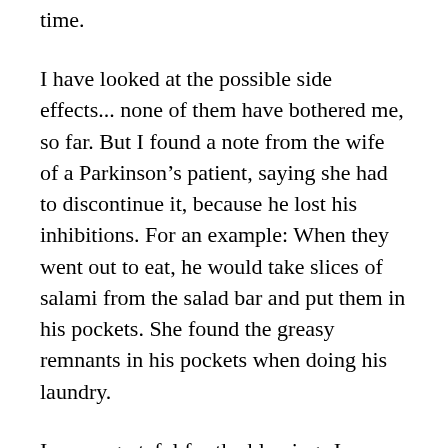time.
I have looked at the possible side effects... none of them have bothered me, so far. But I found a note from the wife of a Parkinson’s patient, saying she had to discontinue it, because he lost his inhibitions. For an example: When they went out to eat, he would take slices of salami from the salad bar and put them in his pockets. She found the greasy remnants in his pockets when doing his laundry.
I am so grateful for the blessings I am experiencing during this journey. Yesterday, with the aid of two grand children, we completed weaving another plastic sleeping